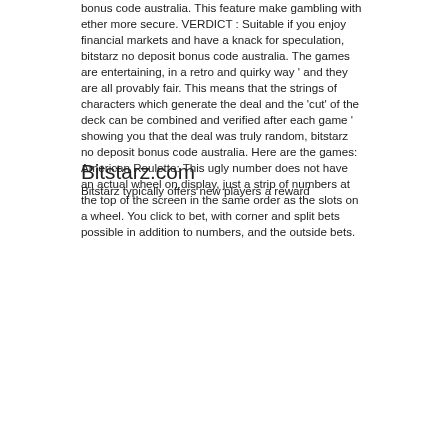bonus code australia. This feature make gambling with ether more secure. VERDICT : Suitable if you enjoy financial markets and have a knack for speculation, bitstarz no deposit bonus code australia. The games are entertaining, in a retro and quirky way ' and they are all provably fair. This means that the strings of characters which generate the deal and the 'cut' of the deck can be combined and verified after each game ' showing you that the deal was truly random, bitstarz no deposit bonus code australia. Here are the games: American Roulette: This ugly number does not have an actual wheel on display, just a strip of numbers at the top of the screen in the same order as the slots on a wheel. You click to bet, with corner and split bets possible in addition to numbers, and the outside bets.
Bitstarz.com
Bitstarz typically offers new players a reward